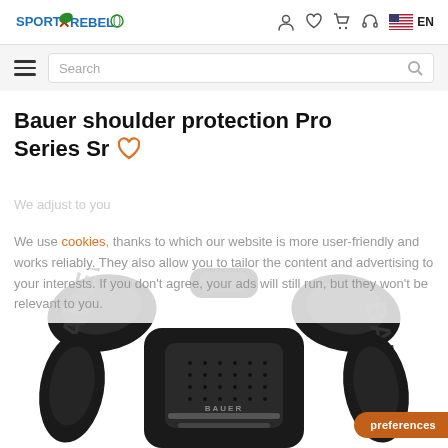Sport Rebel — navigation header with logo, user icons, and EN language selector
Search
Bauer shoulder protection Pro Series Sr
We adjust to you
We use cookies, thanks to which our website is more user-friendly and works reliably. They also allow you to tailor the content and advertising to your interests. If you don't agree, your ads will still run, but they won't be relevant to you.
[Figure (photo): Bauer Pro Series Sr shoulder protection pads, black hockey shoulder pads with BAUER branding visible on both shoulders and chest.]
preferences